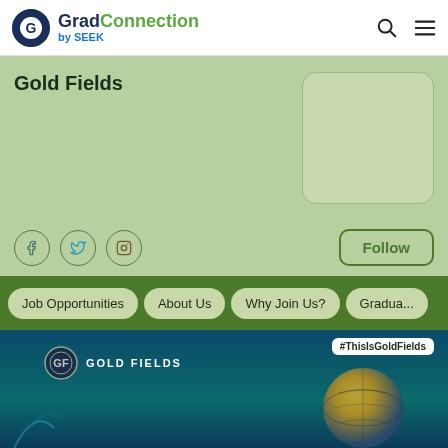GradConnection by SEEK
Gold Fields
[Figure (logo): Gold Fields company logo box placeholder]
[Figure (infographic): Social media icons: Facebook, Twitter, Instagram]
Follow
Job Opportunities
About Us
Why Join Us?
Gradua...
[Figure (photo): Gold Fields branded image with globe and #ThisIsGoldFields hashtag, dark blue/teal background with Gold Fields logo and crest]